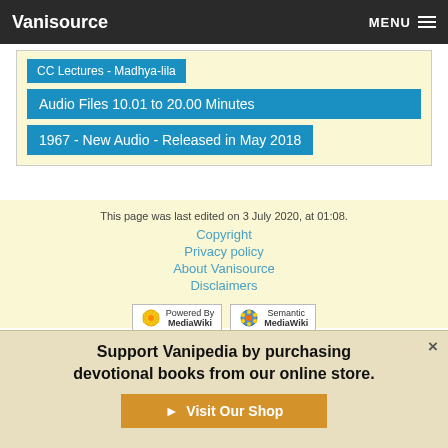Vanisource   MENU
CC Lectures - Madhya-lila
Audio Files 10.01 to 20.00 Minutes
1967 - New Audio - Released in May 2018
This page was last edited on 3 July 2020, at 01:08.
Copyright
Privacy policy
About Vanisource
Disclaimers
[Figure (logo): Powered by MediaWiki badge]
[Figure (logo): Semantic MediaWiki badge]
Support Vanipedia by purchasing devotional books from our online store.
Visit Our Shop